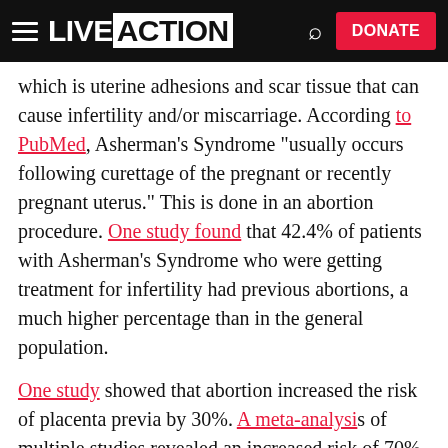LIVE ACTION | DONATE
which is uterine adhesions and scar tissue that can cause infertility and/or miscarriage. According to PubMed, Asherman's Syndrome "usually occurs following curettage of the pregnant or recently pregnant uterus." This is done in an abortion procedure. One study found that 42.4% of patients with Asherman's Syndrome who were getting treatment for infertility had previous abortions, a much higher percentage than in the general population.
One study showed that abortion increased the risk of placenta previa by 30%. A meta-analysis of multiple studies revealed an increased risk of 70%. A third study found an increased risk of 50% after an